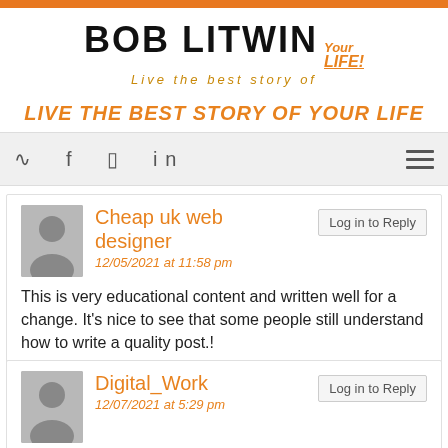BOB LITWIN Your LIFE! Live the best story of
LIVE THE BEST STORY OF YOUR LIFE
[Figure (screenshot): Navigation bar with social media icons (RSS, Facebook, Instagram, LinkedIn) and hamburger menu]
Cheap uk web designer
12/05/2021 at 11:58 pm
This is very educational content and written well for a change. It's nice to see that some people still understand how to write a quality post.!
Digital_Work
12/07/2021 at 5:29 pm
All your hard work is much appreciated...